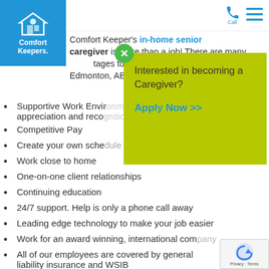[Figure (logo): Comfort Keepers logo — blue square with house icon and white text]
Call [phone icon] [menu icon]
Comfort Keeper's in-home senior caregiver is more than a job! There are many advantages to working at Comfort Keepers in Edmonton, AB and the surrounding area.
[Figure (screenshot): Popup overlay on yellow-green background: 'Interested in becoming a Caregiver? Apply Now >>']
Supportive Work Environment — appreciation and recognition
Competitive Pay
Create your own schedule — flexible shifts
Work close to home
One-on-one client relationships
Continuing education
24/7 support. Help is only a phone call away
Leading edge technology to make your job easier
Work for an award winning, international company
All of our employees are covered by general liability insurance and WSIB